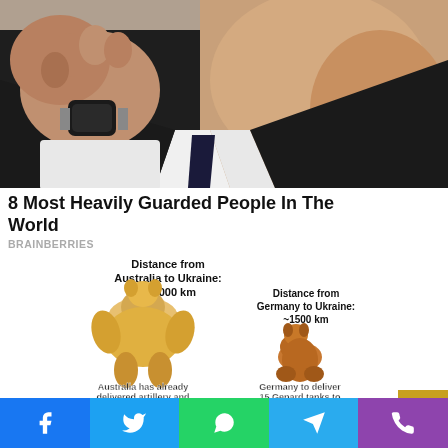[Figure (photo): Close-up photo of a man in a dark suit with white collar and dark tie, adjusting a watch on his wrist. Only the lower face, neck, and hands are visible.]
8 Most Heavily Guarded People In The World
BRAINBERRIES
[Figure (infographic): Meme comparing distance from Australia to Ukraine (~13000 km) shown with a buff muscular Shiba Inu dog, captioned 'Australia has already delivered artillery and armored vehicles', versus distance from Germany to Ukraine (~1500 km) shown with a small sitting Shiba Inu dog, captioned 'Germany to deliver 15 Gepard tanks to Ukraine in July'.]
The Most Poignant War Memes On Russia's